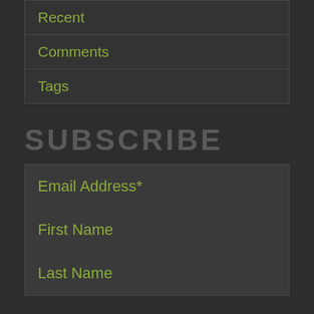Recent
Comments
Tags
SUBSCRIBE
Email Address*
First Name
Last Name